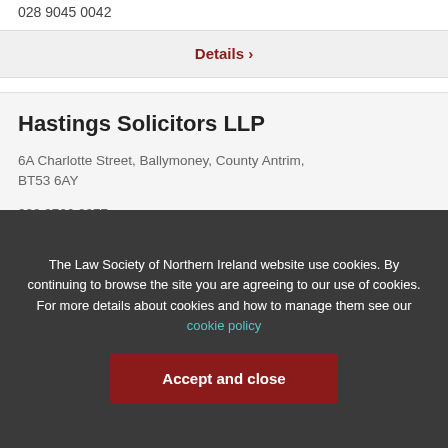028 9045 0042
Details ›
Hastings Solicitors LLP
6A Charlotte Street, Ballymoney, County Antrim, BT53 6AY
028 2766 2277
The Law Society of Northern Ireland website use cookies. By continuing to browse the site you are agreeing to our use of cookies. For more details about cookies and how to manage them see our cookie policy
Accept and close